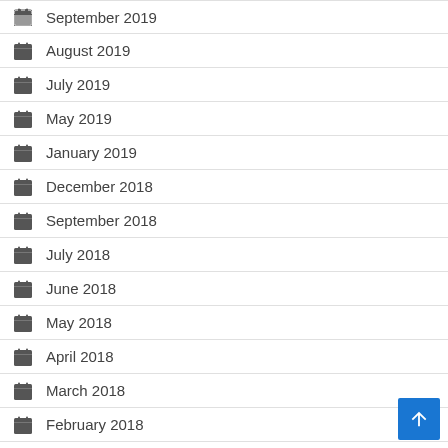September 2019
August 2019
July 2019
May 2019
January 2019
December 2018
September 2018
July 2018
June 2018
May 2018
April 2018
March 2018
February 2018